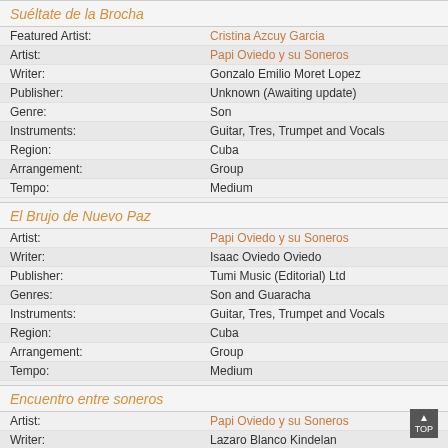Suéltate de la Brocha
| Field | Value |
| --- | --- |
| Featured Artist: | Cristina Azcuy Garcia |
| Artist: | Papi Oviedo y su Soneros |
| Writer: | Gonzalo Emilio Moret Lopez |
| Publisher: | Unknown (Awaiting update) |
| Genre: | Son |
| Instruments: | Guitar, Tres, Trumpet and Vocals |
| Region: | Cuba |
| Arrangement: | Group |
| Tempo: | Medium |
El Brujo de Nuevo Paz
| Field | Value |
| --- | --- |
| Artist: | Papi Oviedo y su Soneros |
| Writer: | Isaac Oviedo Oviedo |
| Publisher: | Tumi Music (Editorial) Ltd |
| Genres: | Son and Guaracha |
| Instruments: | Guitar, Tres, Trumpet and Vocals |
| Region: | Cuba |
| Arrangement: | Group |
| Tempo: | Medium |
Encuentro entre soneros
| Field | Value |
| --- | --- |
| Artist: | Papi Oviedo y su Soneros |
| Writer: | Lazaro Blanco Kindelan |
| Publisher: | Tumi Music (Editorial) Ltd |
| Genre: | Son |
| Instruments: | Guitar, Tres, Trumpet and Vocals |
| Region: | Cuba |